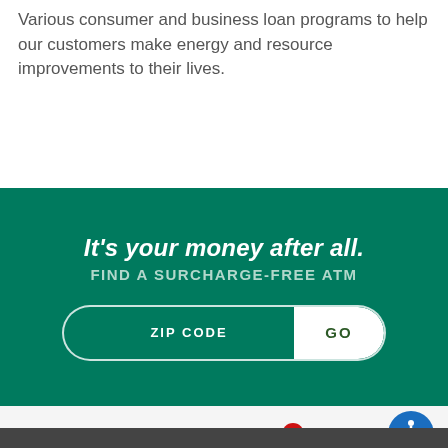Various consumer and business loan programs to help our customers make energy and resource improvements to their lives.
[Figure (infographic): Green banner with ATM finder widget. Text reads: It's your money after all. FIND A SURCHARGE-FREE ATM. Input field labeled ZIP CODE with a GO button.]
RETURN TO TOP